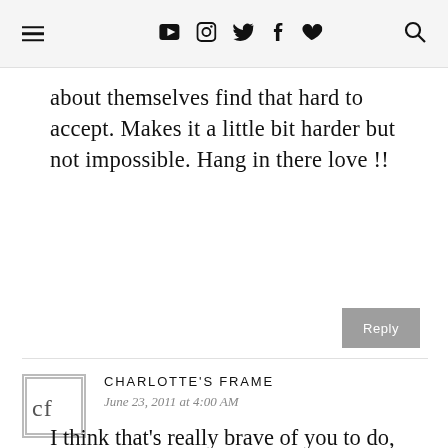≡ ▶ 📷 🐦 f ♥ 🔍
about themselves find that hard to accept. Makes it a little bit harder but not impossible. Hang in there love !!
Reply
[Figure (logo): Charlotte's Frame avatar logo showing 'cf' inside a square border]
CHARLOTTE'S FRAME
June 23, 2011 at 4:00 AM
I think that's really brave of you to do, you have my support!
Reply